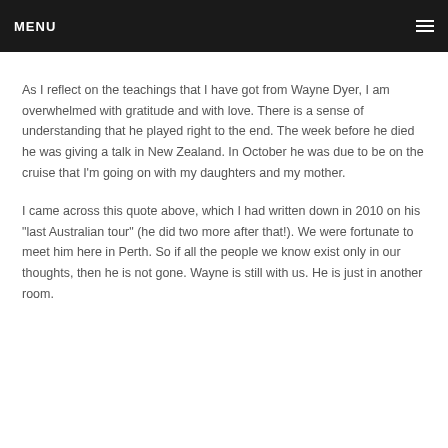MENU
As I reflect on the teachings that I have got from Wayne Dyer, I am overwhelmed with gratitude and with love. There is a sense of understanding that he played right to the end. The week before he died he was giving a talk in New Zealand. In October he was due to be on the cruise that I’m going on with my daughters and my mother.
I came across this quote above, which I had written down in 2010 on his “last Australian tour” (he did two more after that!). We were fortunate to meet him here in Perth. So if all the people we know exist only in our thoughts, then he is not gone. Wayne is still with us. He is just in another room.